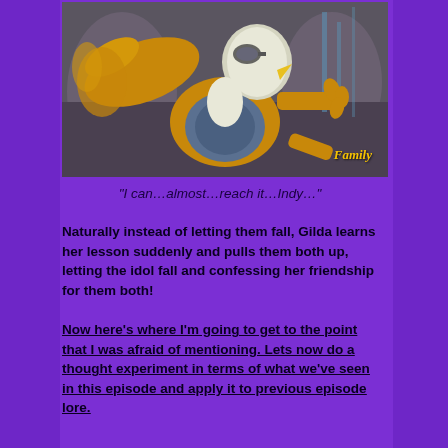[Figure (screenshot): Animated scene showing a griffon character (Gilda) with wings spread, reaching forward with claws, wearing goggles and armor. Character has white head feathers and golden/brown body. 'Family' watermark visible in lower right.]
“I can…almost…reach it…Indy…”
Naturally instead of letting them fall, Gilda learns her lesson suddenly and pulls them both up, letting the idol fall and confessing her friendship for them both!
Now here’s where I’m going to get to the point that I was afraid of mentioning. Lets now do a thought experiment in terms of what we’ve seen in this episode and apply it to previous episode lore.